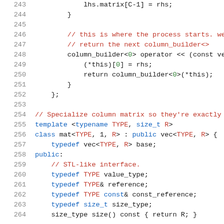[Figure (screenshot): Source code listing in C++ showing lines 243-264, featuring a column_builder template class and mat template class specialization with monospaced font and syntax highlighting (blue for keywords, red for comments and template parameters, green for numeric indices).]